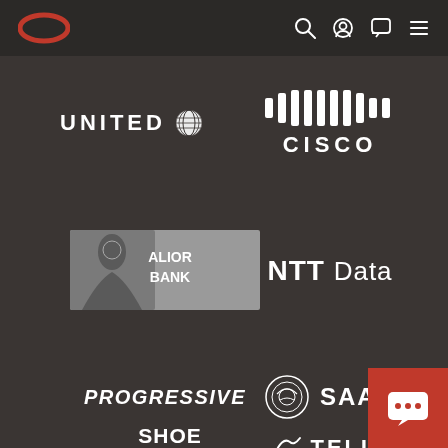[Figure (logo): Oracle navigation bar with Oracle logo (red oval), search icon, user icon, chat icon, and hamburger menu]
[Figure (logo): United Airlines logo in white with globe icon]
[Figure (logo): Cisco logo in white with signal bars icon above text]
[Figure (logo): Alior Bank logo in grayscale with classical figure and text]
[Figure (logo): NTT DATA logo in white text]
[Figure (logo): Progressive Insurance logo in white italic text]
[Figure (logo): SAAB logo in white with circular emblem]
[Figure (logo): Shoe Carnival logo in white bold text]
[Figure (logo): TELUS logo in white with stylized T icon]